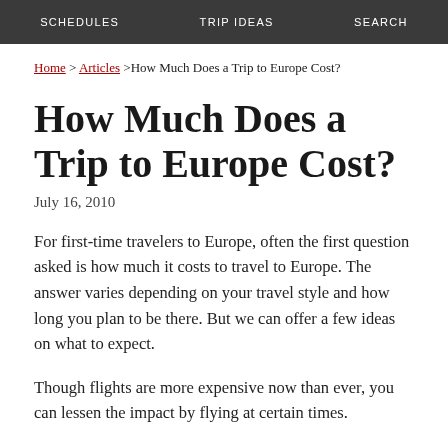SCHEDULES   TRIP IDEAS   SEARCH
Home > Articles > How Much Does a Trip to Europe Cost?
How Much Does a Trip to Europe Cost?
July 16, 2010
For first-time travelers to Europe, often the first question asked is how much it costs to travel to Europe. The answer varies depending on your travel style and how long you plan to be there. But we can offer a few ideas on what to expect.
Though flights are more expensive now than ever, you can lessen the impact by flying at certain times.